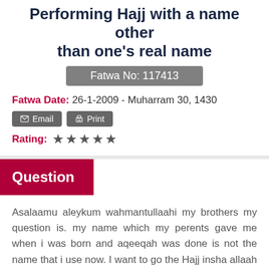Performing Hajj with a name other than one's real name
Fatwa No: 117413
Fatwa Date: 26-1-2009 - Muharram 30, 1430
Email  Print
Rating: ★★★★★
Question
Asalaamu aleykum wahmantullaahi my brothers my question is. my name which my perents gave me when i was born and aqeeqah was done is not the name that i use now. I want to go the Hajj insha allaah next year, and someone recently told me that I can't use this name for hajj because it's not